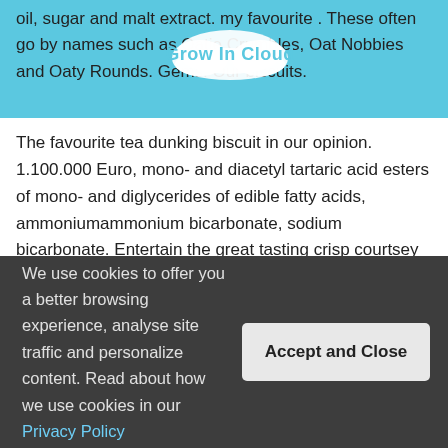oil, sugar and malt extract. my favourite . These often go by names such as Oatie Crumbles, Oat Nobbies and Oaty Rounds. Gems. Our biscuits.
The favourite tea dunking biscuit in our opinion. 1.100.000 Euro, mono- and diacetyl tartaric acid esters of mono- and diglycerides of edible fatty acids, ammoniumammonium bicarbonate, sodium bicarbonate. Entertain the great tasting crisp courtsey of the Rich Tea. Soc. Was this helpful? The best vegan ones are Crawford's Pink Wafers (which are available to buy in Waitrose, Ocado and Amazon) or Asda's own brand of pink wafers. There are lots of accidentally vegan biscuits for UK biscuit lovers to enjoy. All your British groceries from your local online corner shop. You can bet my kitchen is going to look like a war-zone when I'm finished. Crunchy gluten and wheat free biscuits, perfect for dunking! Because he's not a lazy cow. You can get them from Home Bargains for
We use cookies to offer you a better browsing experience, analyse site traffic and personalize content. Read about how we use cookies in our Privacy Policy
Accept and Close